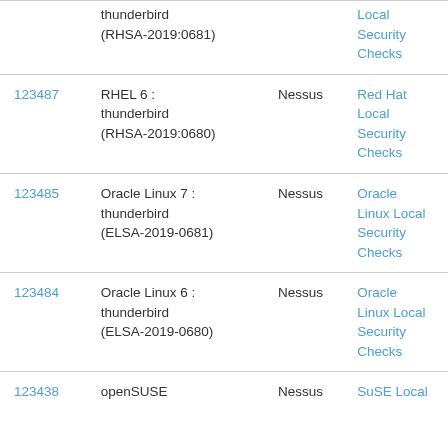| ID | Name | Source | Type |
| --- | --- | --- | --- |
|  | thunderbird (RHSA-2019:0681) |  | Local Security Checks |
| 123487 | RHEL 6 : thunderbird (RHSA-2019:0680) | Nessus | Red Hat Local Security Checks |
| 123485 | Oracle Linux 7 : thunderbird (ELSA-2019-0681) | Nessus | Oracle Linux Local Security Checks |
| 123484 | Oracle Linux 6 : thunderbird (ELSA-2019-0680) | Nessus | Oracle Linux Local Security Checks |
| 123438 | openSUSE | Nessus | SuSE Local |